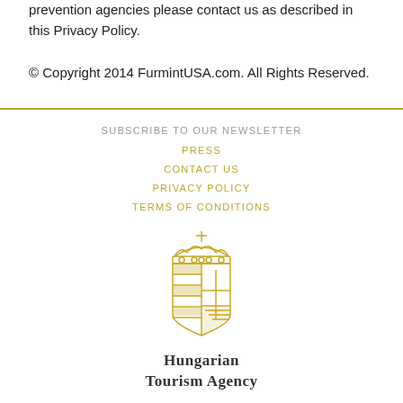prevention agencies please contact us as described in this Privacy Policy.
© Copyright 2014 FurmintUSA.com. All Rights Reserved.
SUBSCRIBE TO OUR NEWSLETTER
PRESS
CONTACT US
PRIVACY POLICY
TERMS OF CONDITIONS
[Figure (logo): Hungarian Tourism Agency coat of arms logo in gold]
Hungarian Tourism Agency